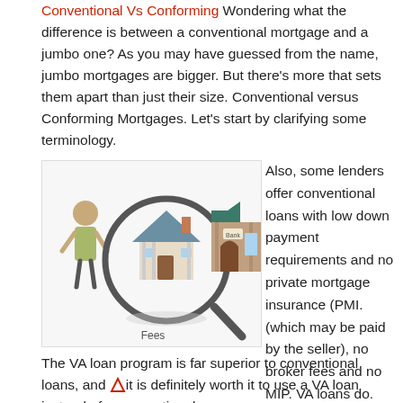Conventional Vs Conforming Wondering what the difference is between a conventional mortgage and a jumbo one? As you may have guessed from the name, jumbo mortgages are bigger. But there's more that sets them apart than just their size. Conventional versus Conforming Mortgages. Let's start by clarifying some terminology.
[Figure (illustration): Illustration showing a person, a house under a magnifying glass, and a bank building, with the word 'Fees' below the magnifying glass.]
Also, some lenders offer conventional loans with low down payment requirements and no private mortgage insurance (PMI. (which may be paid by the seller), no broker fees and no MIP. VA loans do.
The VA loan program is far superior to conventional loans, and it is definitely worth it to use a VA loan instead of a conventional